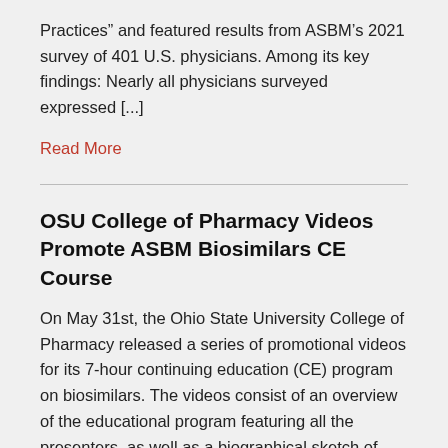Practices” and featured results from ASBM’s 2021 survey of 401 U.S. physicians. Among its key findings: Nearly all physicians surveyed expressed [...]
Read More
OSU College of Pharmacy Videos Promote ASBM Biosimilars CE Course
On May 31st, the Ohio State University College of Pharmacy released a series of promotional videos for its 7-hour continuing education (CE) program on biosimilars. The videos consist of an overview of the educational program featuring all the presenters, as well as a biographical sketch of each presenter. The program was developed in partnership with ASBM and [...]